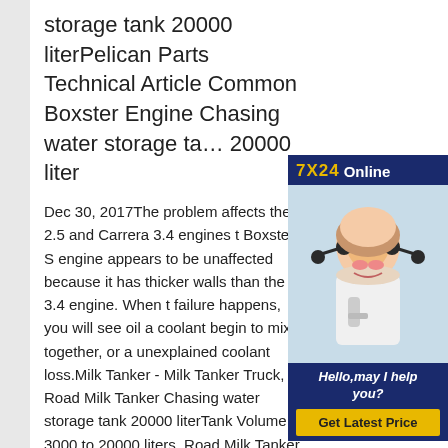storage tank 20000 literPelican Parts Technical Article Common Boxster Engine Chasing water storage tank 20000 liter
Dec 30, 2017The problem affects the 2.5 and Carrera 3.4 engines t Boxster S engine appears to be unaffected because it has thicker walls than the 3.4 engine. When t failure happens, you will see oil a coolant begin to mix together, or a unexplained coolant loss.Milk Tanker - Milk Tanker Truck, Road Milk Tanker Chasing water storage tank 20000 literTank Volume 3000 to 20000 liters. Road Milk Tanker (RMT) Capacity range from 1000 litres 1600/3000/10000/20000
[Figure (photo): Advertisement widget showing a woman with a headset smiling, with '7X24 Online' header in dark blue and gold, 'Hello, may I help you?' text, and a 'Get Latest Price' yellow button.]